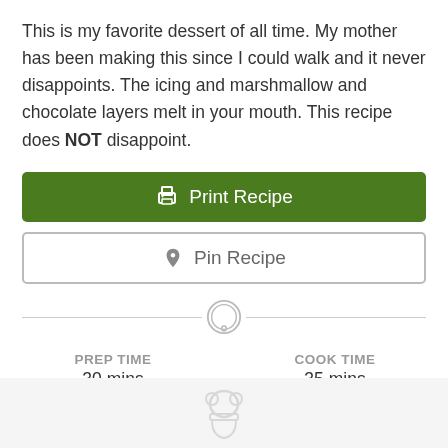This is my favorite dessert of all time. My mother has been making this since I could walk and it never disappoints. The icing and marshmallow and chocolate layers melt in your mouth. This recipe does NOT disappoint.
[Figure (other): Green 'Print Recipe' button with printer icon]
[Figure (other): White 'Pin Recipe' button with Pinterest icon and border]
PREP TIME
30 mins
COOK TIME
35 mins